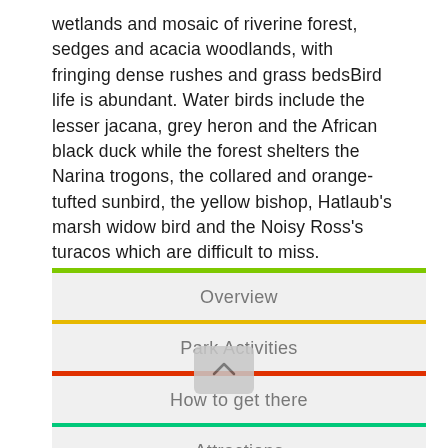wetlands and mosaic of riverine forest, sedges and acacia woodlands, with fringing dense rushes and grass bedsBird life is abundant. Water birds include the lesser jacana, grey heron and the African black duck while the forest shelters the Narina trogons, the collared and orange-tufted sunbird, the yellow bishop, Hatlaub's marsh widow bird and the Noisy Ross's turacos which are difficult to miss.
Overview
Park Activities
How to get there
Attractions
Accommodation